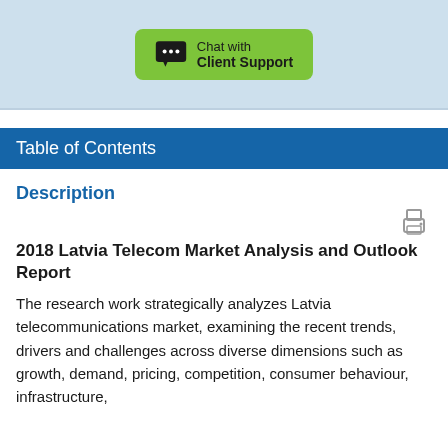[Figure (other): Green 'Chat with Client Support' button with chat bubble icon on light blue background]
Table of Contents
Description
2018 Latvia Telecom Market Analysis and Outlook Report
The research work strategically analyzes Latvia telecommunications market, examining the recent trends, drivers and challenges across diverse dimensions such as growth, demand, pricing, competition, consumer behaviour, infrastructure,